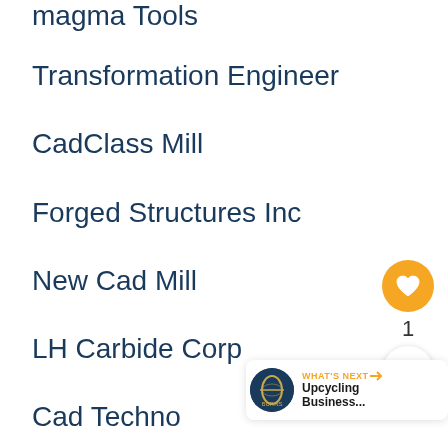magma Tools
Transformation Engineer
CadClass Mill
Forged Structures Inc
New Cad Mill
LH Carbide Corp
Cad Techno
Agreed Machine Shop
Velocity Machining Center